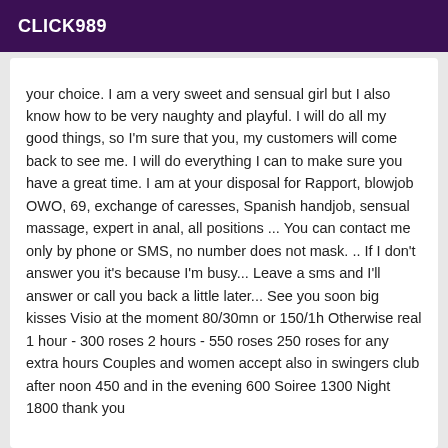CLICK989
your choice. I am a very sweet and sensual girl but I also know how to be very naughty and playful. I will do all my good things, so I'm sure that you, my customers will come back to see me. I will do everything I can to make sure you have a great time. I am at your disposal for Rapport, blowjob OWO, 69, exchange of caresses, Spanish handjob, sensual massage, expert in anal, all positions ... You can contact me only by phone or SMS, no number does not mask. .. If I don't answer you it's because I'm busy... Leave a sms and I'll answer or call you back a little later... See you soon big kisses Visio at the moment 80/30mn or 150/1h Otherwise real 1 hour - 300 roses 2 hours - 550 roses 250 roses for any extra hours Couples and women accept also in swingers club after noon 450 and in the evening 600 Soiree 1300 Night 1800 thank you